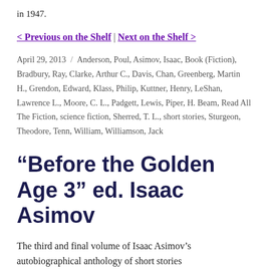in 1947.
< Previous on the Shelf | Next on the Shelf >
April 29, 2013 / Anderson, Poul, Asimov, Isaac, Book (Fiction), Bradbury, Ray, Clarke, Arthur C., Davis, Chan, Greenberg, Martin H., Grendon, Edward, Klass, Philip, Kuttner, Henry, LeShan, Lawrence L., Moore, C. L., Padgett, Lewis, Piper, H. Beam, Read All The Fiction, science fiction, Sherred, T. L., short stories, Sturgeon, Theodore, Tenn, William, Williamson, Jack
“Before the Golden Age 3” ed. Isaac Asimov
The third and final volume of Isaac Asimov’s autobiographical anthology of short stories